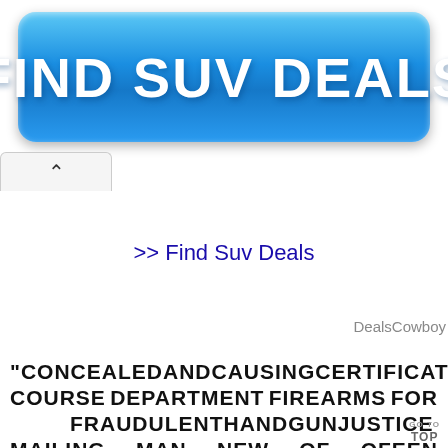[Figure (other): Blue button banner reading FIND SUV DEALS in bold white text]
[Figure (other): Browser tab or UI element with upward caret/chevron symbol]
>> Find Suv Deals
DealsCowboy
“CONCEALED AND CAUSING CERTIFICATES COURSE DEPARTMENT FIREARMS FOR FRAUDULENT HANDGUN JUSTICE MAILING MAN NEW OF OFEEN
GO TO TOP